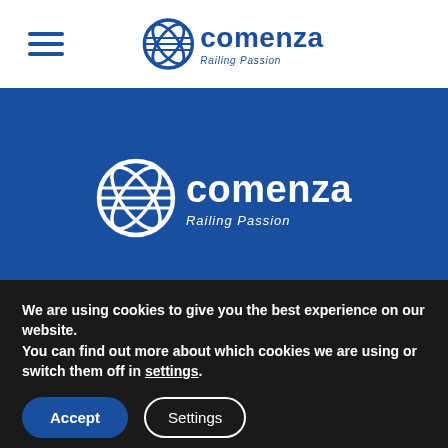[Figure (logo): Comenza logo in top navigation bar with hamburger menu on the left. Logo shows circular icon with diagonal lines and 'comenza' text with 'Railing Passion' tagline in blue.]
[Figure (logo): Comenza logo centered on blue background. Large circular icon with diagonal lines, 'comenza' text in white, 'Railing Passion' tagline in white italic.]
[Figure (infographic): Social media icons row on blue background: LinkedIn, YouTube, Email/Envelope, Instagram — all white circle outline icons.]
We are using cookies to give you the best experience on our website.
You can find out more about which cookies we are using or switch them off in settings.
Accept
Settings